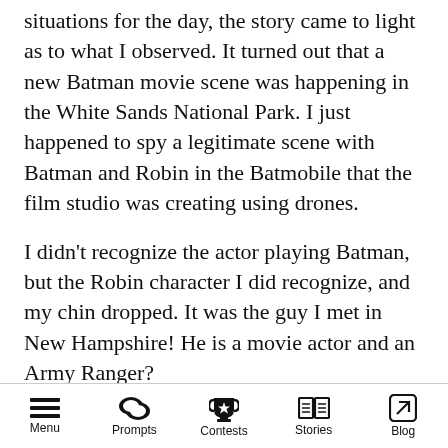situations for the day, the story came to light as to what I observed. It turned out that a new Batman movie scene was happening in the White Sands National Park. I just happened to spy a legitimate scene with Batman and Robin in the Batmobile that the film studio was creating using drones.
I didn't recognize the actor playing Batman, but the Robin character I did recognize, and my chin dropped. It was the guy I met in New Hampshire! He is a movie actor and an Army Ranger?
The quality of the image is not determined by the lens itself but rather the diameter of the
Menu   Prompts   Contests   Stories   Blog